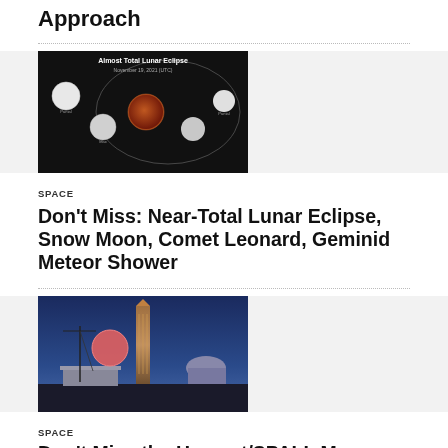Approach
[Figure (photo): Diagram of Almost Total Lunar Eclipse showing moon phases in sequence on black background]
SPACE
Don't Miss: Near-Total Lunar Eclipse, Snow Moon, Comet Leonard, Geminid Meteor Shower
[Figure (photo): Photo of a large pink/red moon rising over Washington DC skyline at dusk, with Washington Monument and Capitol building visible]
SPACE
Don't Miss the Harvest/SPALL Mo...